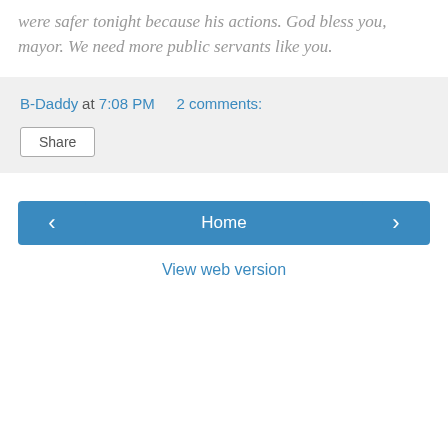were safer tonight because his actions. God bless you, mayor. We need more public servants like you.
B-Daddy at 7:08 PM    2 comments:
Share
‹
Home
›
View web version